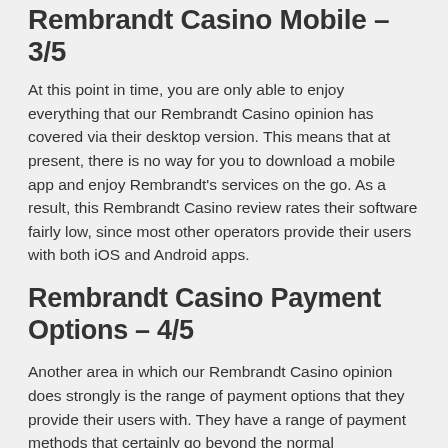Rembrandt Casino Mobile – 3/5
At this point in time, you are only able to enjoy everything that our Rembrandt Casino opinion has covered via their desktop version. This means that at present, there is no way for you to download a mobile app and enjoy Rembrandt's services on the go. As a result, this Rembrandt Casino review rates their software fairly low, since most other operators provide their users with both iOS and Android apps.
Rembrandt Casino Payment Options – 4/5
Another area in which our Rembrandt Casino opinion does strongly is the range of payment options that they provide their users with. They have a range of payment methods that certainly go beyond the normal expectations for an online betting operator.
As well as typical bank transfer methods, they support and range of e-wallet and prepaid card solutions. Here's a list of the main ways to deposit and withdraw with Rembrandt: